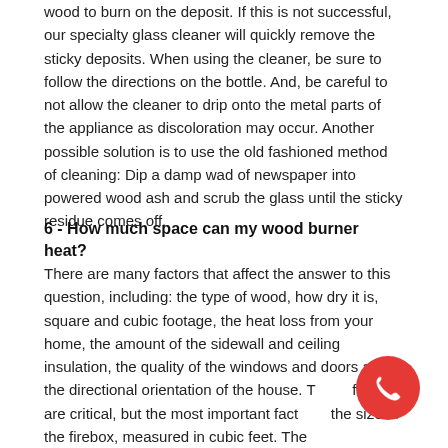wood to burn on the deposit. If this is not successful, our specialty glass cleaner will quickly remove the sticky deposits. When using the cleaner, be sure to follow the directions on the bottle. And, be careful to not allow the cleaner to drip onto the metal parts of the appliance as discoloration may occur. Another possible solution is to use the old fashioned method of cleaning: Dip a damp wad of newspaper into powered wood ash and scrub the glass until the sticky residue comes off.
6 - How much space can my wood burner heat?
There are many factors that affect the answer to this question, including: the type of wood, how dry it is, square and cubic footage, the heat loss from your home, the amount of the sidewall and ceiling insulation, the quality of the windows and doors and the directional orientation of the house. These factors are critical, but the most important factor is the size of the firebox, measured in cubic feet. The
[Figure (other): Red circular phone/call button icon in the bottom right corner]